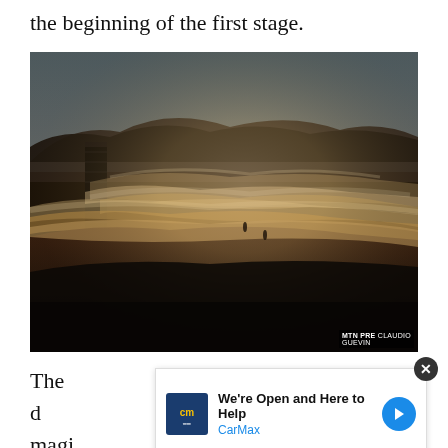the beginning of the first stage.
[Figure (photo): Landscape photo showing a dramatic scene with dark volcanic hills and swirling dust or steam across a valley, with small human figures barely visible in the mist. Watermark reads 'MTN PRE CLAUDIO GUEVIN' in bottom right corner.]
The d[obscured by ad]ng magi[obscured by ad] storm[obscured by ad]ted their[obscured by ad]